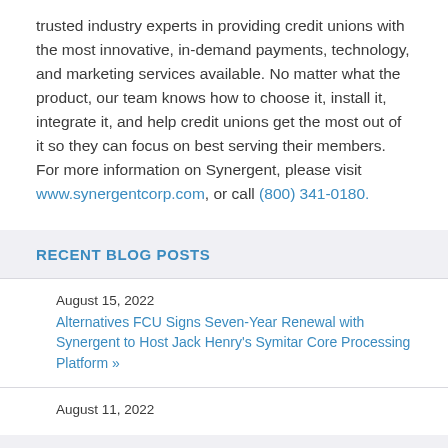trusted industry experts in providing credit unions with the most innovative, in-demand payments, technology, and marketing services available. No matter what the product, our team knows how to choose it, install it, integrate it, and help credit unions get the most out of it so they can focus on best serving their members. For more information on Synergent, please visit www.synergentcorp.com, or call (800) 341-0180.
RECENT BLOG POSTS
August 15, 2022
Alternatives FCU Signs Seven-Year Renewal with Synergent to Host Jack Henry's Symitar Core Processing Platform »
August 11, 2022